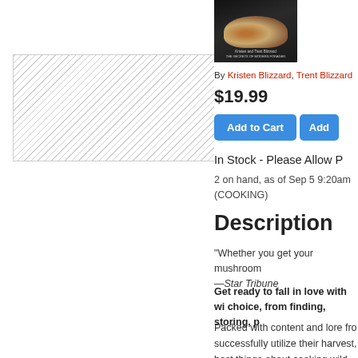[Figure (photo): Book cover thumbnail for a mushroom foraging cookbook by Kristen and Trent Blizzard]
By Kristen Blizzard, Trent Blizzard
$19.99
Add to Cart | Add
In Stock - Please Allow P
2 on hand, as of Sep 5 9:20am
(COOKING)
Description
"Whether you get your mushroom —Star Tribune
Get ready to fall in love with wi choice, from finding, storing, p
Packed with content and lore fro successfully utilize their harvest, best things about cooking wild m experience creating an immediat